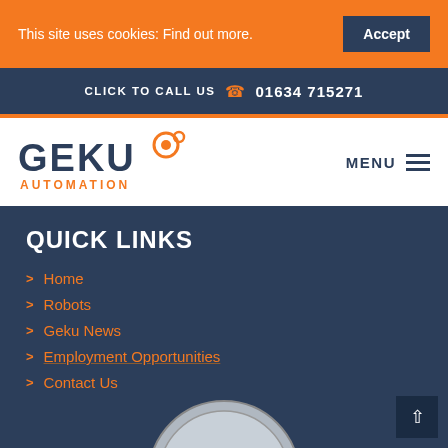This site uses cookies: Find out more.
Accept
CLICK TO CALL US  01634 715271
[Figure (logo): Geku Automation logo with orange gear/circle icon and dark navy text]
MENU
QUICK LINKS
Home
Robots
Geku News
Employment Opportunities
Contact Us
[Figure (illustration): Partial quality assurance badge/seal in grey and white at the bottom of the page]